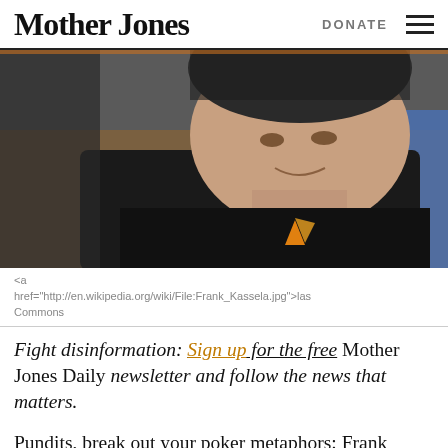Mother Jones | DONATE
[Figure (photo): Close-up photo of a man in a black t-shirt with a poker logo, smiling slightly, at what appears to be a poker tournament setting.]
<a href="http://en.wikipedia.org/wiki/File:Frank_Kassela.jpg">las Commons
Fight disinformation: Sign up for the free Mother Jones Daily newsletter and follow the news that matters.
Pundits, break out your poker metaphors: Frank Kassela won the World